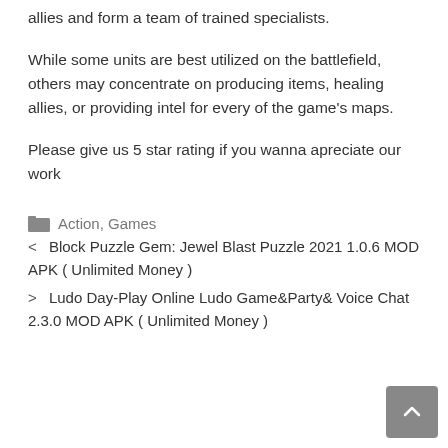allies and form a team of trained specialists.
While some units are best utilized on the battlefield, others may concentrate on producing items, healing allies, or providing intel for every of the game's maps.
Please give us 5 star rating if you wanna apreciate our work
Action, Games
< Block Puzzle Gem: Jewel Blast Puzzle 2021 1.0.6 MOD APK ( Unlimited Money )
> Ludo Day-Play Online Ludo Game&Party& Voice Chat 2.3.0 MOD APK ( Unlimited Money )